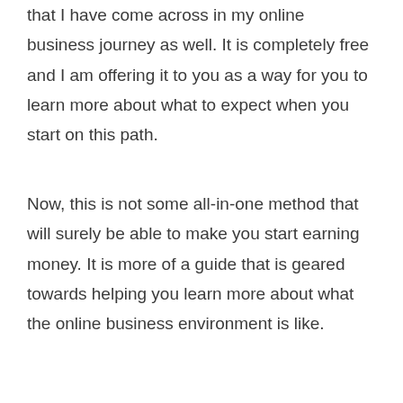that I have come across in my online business journey as well. It is completely free and I am offering it to you as a way for you to learn more about what to expect when you start on this path.
Now, this is not some all-in-one method that will surely be able to make you start earning money. It is more of a guide that is geared towards helping you learn more about what the online business environment is like.